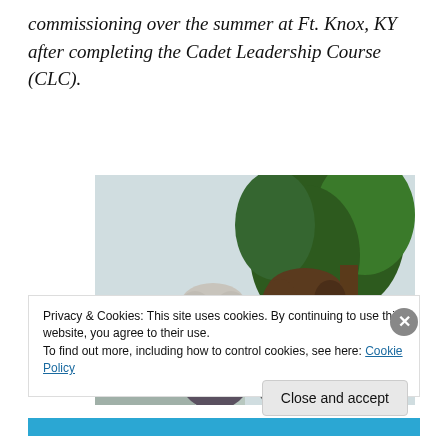commissioning over the summer at Ft. Knox, KY after completing the Cadet Leadership Course (CLC).
[Figure (photo): A photo of two people (a woman with white hair and glasses, and a man with brown hair) smiling, with a large leafy plant in the background.]
Privacy & Cookies: This site uses cookies. By continuing to use this website, you agree to their use. To find out more, including how to control cookies, see here: Cookie Policy